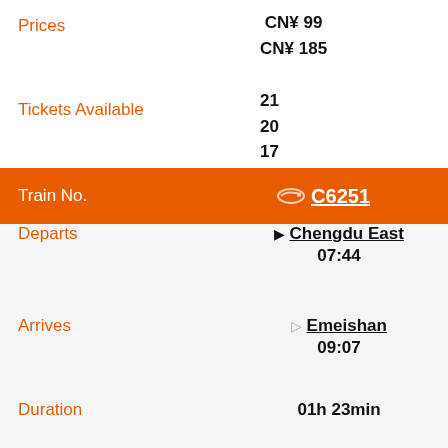Prices
CN¥ 99
CN¥ 185
Tickets Available
21
20
17
| Field | Value |
| --- | --- |
| Train No. | C6251 |
| Departs | Chengdu East 07:44 |
| Arrives | Emeishan 09:07 |
| Duration | 01h 23min |
| Ticket Category | 2nd Class Seat »
1st Class Seat» |